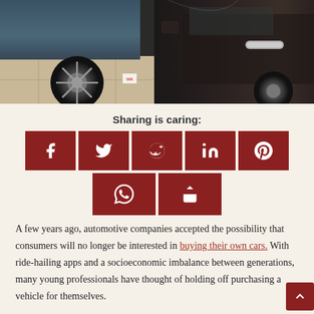[Figure (photo): Photo of cars in a dealership showroom — a blue/grey SUV wheel on the left and the side/door of a dark brown SUV on the right]
Sharing is caring:
[Figure (infographic): Row of dark red social share buttons: Facebook, Twitter, Reddit, LinkedIn, Pinterest, WhatsApp, Share]
A few years ago, automotive companies accepted the possibility that consumers will no longer be interested in buying their own cars. With ride-hailing apps and a socioeconomic imbalance between generations, many young professionals have thought of holding off purchasing a vehicle for themselves.
The tables had turned when the coronavirus pandemic